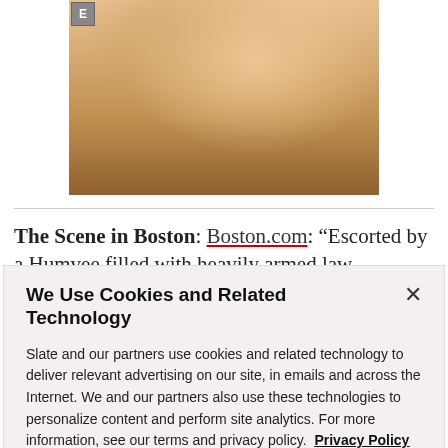[Figure (photo): Cropped photo of a person with blonde hair and red nails, wearing dark clothing, with an E badge visible in the top left corner.]
The Scene in Boston: Boston.com: “Escorted by a Humvee filled with heavily armed law enforcement
We Use Cookies and Related Technology
Slate and our partners use cookies and related technology to deliver relevant advertising on our site, in emails and across the Internet. We and our partners also use these technologies to personalize content and perform site analytics. For more information, see our terms and privacy policy. Privacy Policy
OK